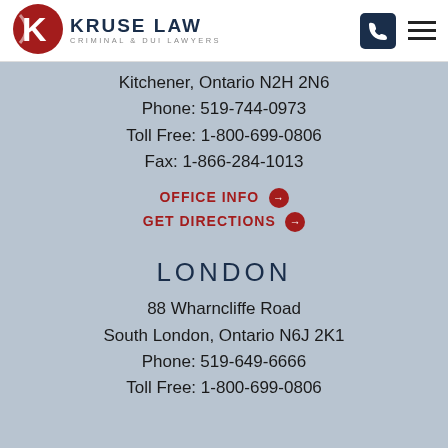[Figure (logo): Kruse Law Criminal & DUI Lawyers logo with red K shield icon]
Kitchener, Ontario N2H 2N6
Phone: 519-744-0973
Toll Free: 1-800-699-0806
Fax: 1-866-284-1013
OFFICE INFO →
GET DIRECTIONS →
LONDON
88 Wharncliffe Road
South London, Ontario N6J 2K1
Phone: 519-649-6666
Toll Free: 1-800-699-0806